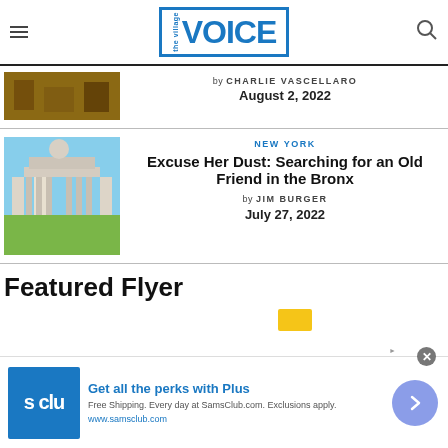[Figure (logo): The Village Voice logo in blue with border]
by CHARLIE VASCELLARO
August 2, 2022
[Figure (photo): Monument or statue in outdoor setting]
NEW YORK
Excuse Her Dust: Searching for an Old Friend in the Bronx
by JIM BURGER
July 27, 2022
Featured Flyer
[Figure (infographic): Advertisement: Get all the perks with Plus - SamsClub.com]